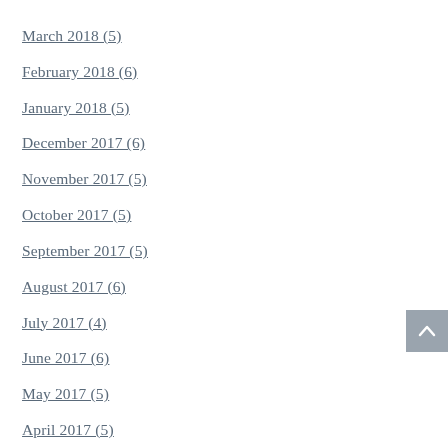March 2018 (5)
February 2018 (6)
January 2018 (5)
December 2017 (6)
November 2017 (5)
October 2017 (5)
September 2017 (5)
August 2017 (6)
July 2017 (4)
June 2017 (6)
May 2017 (5)
April 2017 (5)